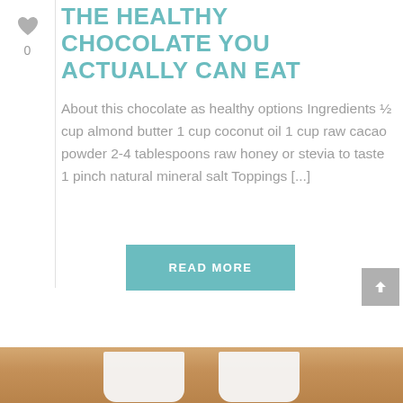THE HEALTHY CHOCOLATE YOU ACTUALLY CAN EAT
About this chocolate as healthy options Ingredients ½ cup almond butter 1 cup coconut oil 1 cup raw cacao powder 2-4 tablespoons raw honey or stevia to taste 1 pinch natural mineral salt Toppings [...]
READ MORE
[Figure (photo): Bottom strip showing white cups or glasses on a wooden surface background]